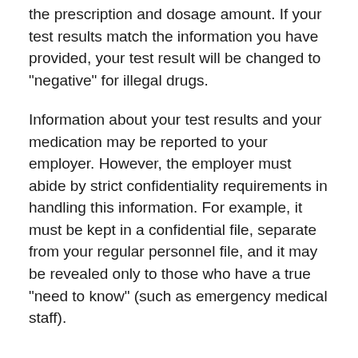the prescription and dosage amount. If your test results match the information you have provided, your test result will be changed to "negative" for illegal drugs.
Information about your test results and your medication may be reported to your employer. However, the employer must abide by strict confidentiality requirements in handling this information. For example, it must be kept in a confidential file, separate from your regular personnel file, and it may be revealed only to those who have a true "need to know" (such as emergency medical staff).